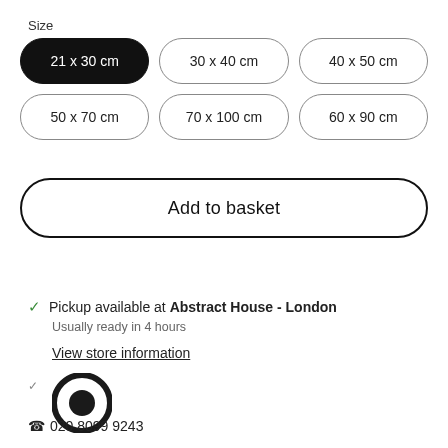Size
21 x 30 cm (selected)
30 x 40 cm
40 x 50 cm
50 x 70 cm
70 x 100 cm
60 x 90 cm
Add to basket
Pickup available at Abstract House - London
Usually ready in 4 hours
View store information
020 8099 9243